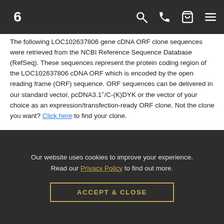Navigation bar with logo and icons (search, phone, cart, menu)
The following LOC102637806 gene cDNA ORF clone sequences were retrieved from the NCBI Reference Sequence Database (RefSeq). These sequences represent the protein coding region of the LOC102637806 cDNA ORF which is encoded by the open reading frame (ORF) sequence. ORF sequences can be delivered in our standard vector, pcDNA3.1+/C-(K)DYK or the vector of your choice as an expression/transfection-ready ORF clone. Not the clone you want? Click here to find your clone.
Search by CloneID, Accession No.
| ***CloneID | Accession No. | Definition |
| --- | --- | --- |
Our website uses cookies to improve your experience. Read our Privacy Policy to find out more.
ACCEPT & CLOSE